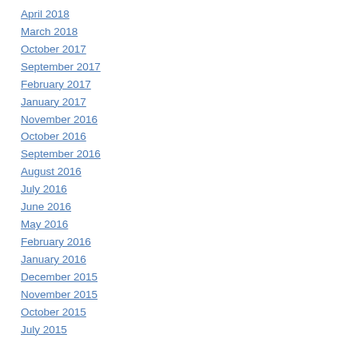April 2018
March 2018
October 2017
September 2017
February 2017
January 2017
November 2016
October 2016
September 2016
August 2016
July 2016
June 2016
May 2016
February 2016
January 2016
December 2015
November 2015
October 2015
July 2015